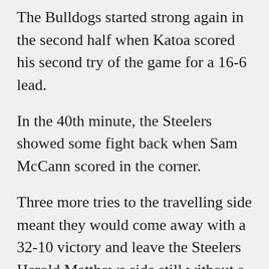The Bulldogs started strong again in the second half when Katoa scored his second try of the game for a 16-6 lead.
In the 40th minute, the Steelers showed some fight back when Sam McCann scored in the corner.
Three more tries to the travelling side meant they would come away with a 32-10 victory and leave the Steelers Harold Matthews side still without a victory this season.
Next up were the SG Ball teams and with the conditions deteriorating throughout the day, both sides were met with a soaked field.